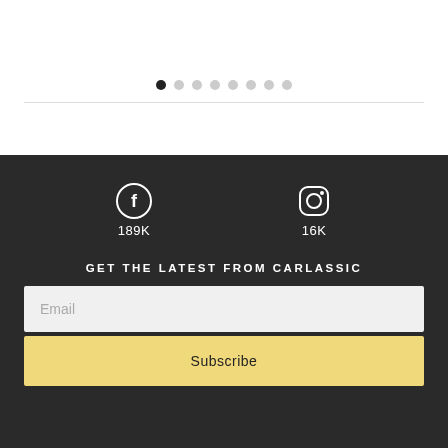[Figure (other): Pagination dots row: one filled black dot followed by seven light grey dots]
189K
16K
GET THE LATEST FROM CARLASSIC
Email
Subscribe